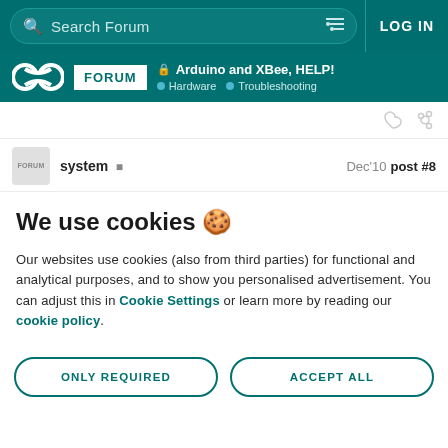Search Forum | LOG IN
Arduino and XBee, HELP! Hardware Troubleshooting
system  Dec'10  post #8
We use cookies 🍪
Our websites use cookies (also from third parties) for functional and analytical purposes, and to show you personalised advertisement. You can adjust this in Cookie Settings or learn more by reading our cookie policy.
ONLY REQUIRED | ACCEPT ALL